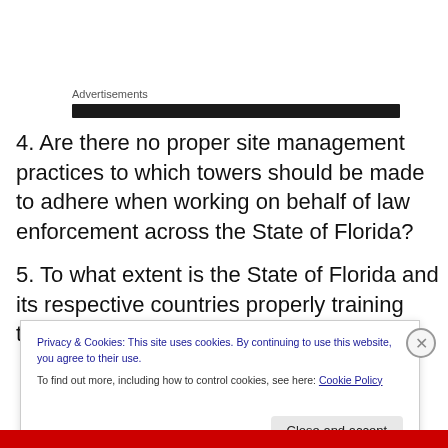Advertisements
4. Are there no proper site management practices to which towers should be made to adhere when working on behalf of law enforcement across the State of Florida?
5. To what extent is the State of Florida and its respective countries properly training towers and tow truck responders?
Privacy & Cookies: This site uses cookies. By continuing to use this website, you agree to their use.
To find out more, including how to control cookies, see here: Cookie Policy